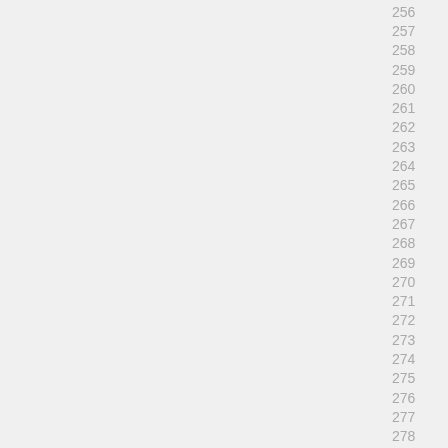256
257
258
259
260
261
262
263
264
265
266
267
268
269
270
271
272
273
274
275
276
277
278